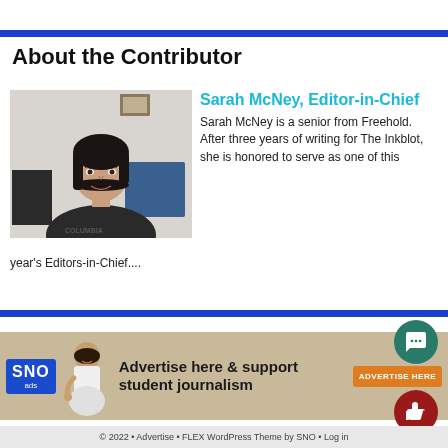About the Contributor
[Figure (photo): Portrait photo of Sarah McNey, a young woman with dark shoulder-length hair, smiling, wearing a dark Columbia sweatshirt, in an office or classroom setting]
Sarah McNey, Editor-in-Chief
Sarah McNey is a senior from Freehold. After three years of writing for The Inkblot, she is honored to serve as one of this year's Editors-in-Chief....
[Figure (infographic): SNO ads advertisement banner: Advertise here & support student journalism, with ADVERTISE HERE button]
© 2022 • Advertise • FLEX WordPress Theme by SNO • Log in